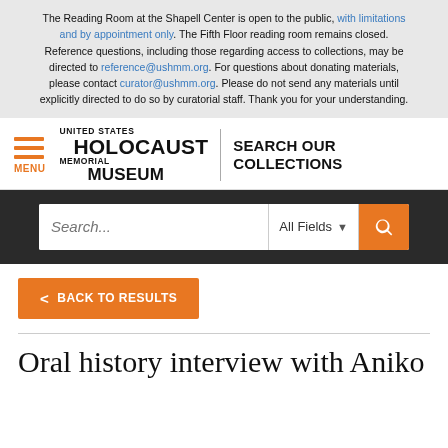The Reading Room at the Shapell Center is open to the public, with limitations and by appointment only. The Fifth Floor reading room remains closed. Reference questions, including those regarding access to collections, may be directed to reference@ushmm.org. For questions about donating materials, please contact curator@ushmm.org. Please do not send any materials until explicitly directed to do so by curatorial staff. Thank you for your understanding.
[Figure (logo): United States Holocaust Memorial Museum logo with hamburger menu icon and SEARCH OUR COLLECTIONS text]
[Figure (screenshot): Search bar with 'Search...' placeholder, 'All Fields' dropdown, and orange search button]
< BACK TO RESULTS
Oral history interview with Aniko